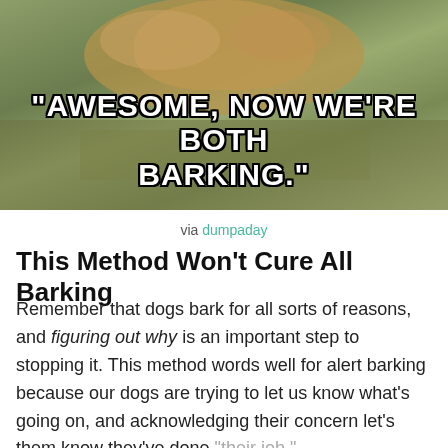[Figure (photo): A meme image showing a dog outdoors with grassy background and bold white Impact-font text overlay reading: "AWESOME, NOW WE'RE BOTH BARKING."]
via dumpaday
This Method Won't Cure All Barking
Remember that dogs bark for all sorts of reasons, and figuring out why is an important step to stopping it. This method words well for alert barking because our dogs are trying to let us know what's going on, and acknowledging their concern let's them know they've done “their job.”